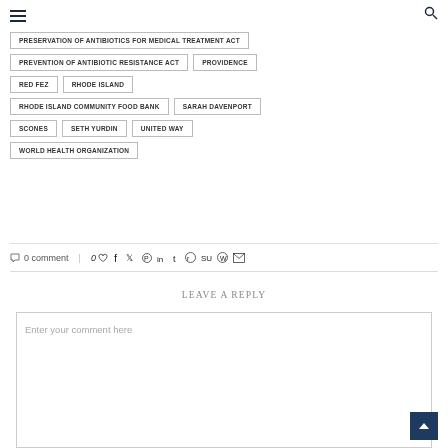Navigation header with hamburger menu and search icon
PRESERVATION OF ANTIBIOTICS FOR MEDICAL TREATMENT ACT
PREVENTION OF ANTIBIOTIC RESISTANCE ACT
PROVIDENCE
RED FEZ
RHODE ISLAND
RHODE ISLAND COMMUNITY FOOD BANK
SARAH DAVENPORT
SCONES
SETH YURDIN
UNITED WAY
WORLD HEALTH ORGANIZATION
0 comment | 0 likes and social sharing icons
LEAVE A REPLY
Enter your comment here